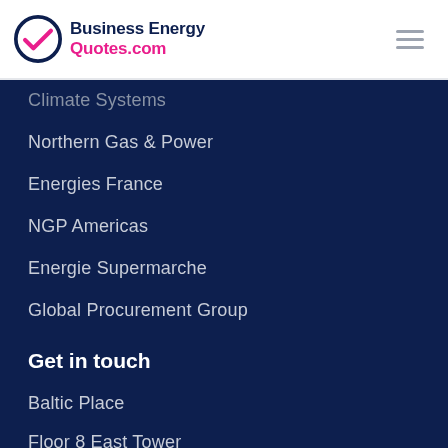[Figure (logo): Business Energy Quotes.com logo with circular checkmark icon in navy and pink]
Climate Systems
Northern Gas & Power
Energies France
NGP Americas
Energie Supermarche
Global Procurement Group
Get in touch
Baltic Place
Floor 8 East Tower
Gateshead